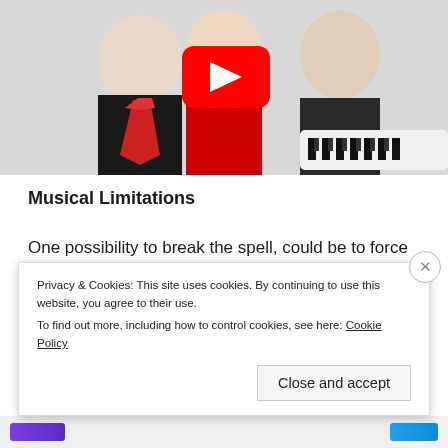[Figure (photo): Three musicians in a band photo: a man in black shirt with red tie on left, a woman in Union Jack dress in center, and a person playing a white keytar on the right. A YouTube play button overlay is shown in the center of the image.]
Musical Limitations
One possibility to break the spell, could be to force ourselves to get used to a new chord progression or perhaps use a new modal scale
Privacy & Cookies: This site uses cookies. By continuing to use this website, you agree to their use.
To find out more, including how to control cookies, see here: Cookie Policy
Close and accept